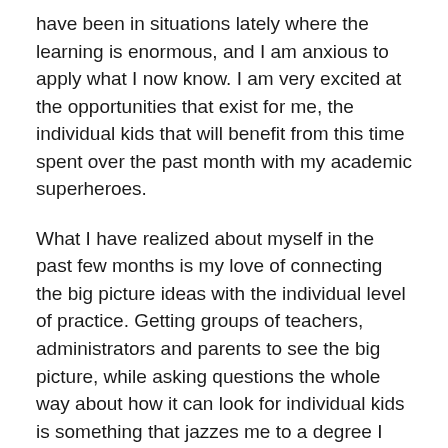have been in situations lately where the learning is enormous, and I am anxious to apply what I now know. I am very excited at the opportunities that exist for me, the individual kids that will benefit from this time spent over the past month with my academic superheroes.
What I have realized about myself in the past few months is my love of connecting the big picture ideas with the individual level of practice. Getting groups of teachers, administrators and parents to see the big picture, while asking questions the whole way about how it can look for individual kids is something that jazzes me to a degree I didn't know possible.
Listening to Linda Darling-Hammond talk about the dire needs that exist, a question from the group was asked about how to tackle these problems that schools are